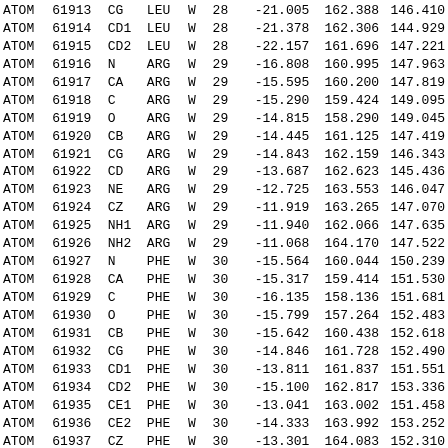|  | serial | name | resName | chainID | resSeq | x | y | z |
| --- | --- | --- | --- | --- | --- | --- | --- | --- |
| ATOM | 61913 | CG | LEU | W | 28 | -21.005 | 162.388 | 146.410 |
| ATOM | 61914 | CD1 | LEU | W | 28 | -21.378 | 162.306 | 144.929 |
| ATOM | 61915 | CD2 | LEU | W | 28 | -22.157 | 161.696 | 147.221 |
| ATOM | 61916 | N | ARG | W | 29 | -16.808 | 160.995 | 147.963 |
| ATOM | 61917 | CA | ARG | W | 29 | -15.595 | 160.200 | 147.819 |
| ATOM | 61918 | C | ARG | W | 29 | -15.290 | 159.424 | 149.095 |
| ATOM | 61919 | O | ARG | W | 29 | -14.815 | 158.290 | 149.045 |
| ATOM | 61920 | CB | ARG | W | 29 | -14.445 | 161.125 | 147.419 |
| ATOM | 61921 | CG | ARG | W | 29 | -14.843 | 162.159 | 146.343 |
| ATOM | 61922 | CD | ARG | W | 29 | -13.687 | 162.623 | 145.436 |
| ATOM | 61923 | NE | ARG | W | 29 | -12.725 | 163.553 | 146.047 |
| ATOM | 61924 | CZ | ARG | W | 29 | -11.919 | 163.265 | 147.070 |
| ATOM | 61925 | NH1 | ARG | W | 29 | -11.940 | 162.066 | 147.635 |
| ATOM | 61926 | NH2 | ARG | W | 29 | -11.068 | 164.170 | 147.522 |
| ATOM | 61927 | N | PHE | W | 30 | -15.564 | 160.044 | 150.239 |
| ATOM | 61928 | CA | PHE | W | 30 | -15.317 | 159.414 | 151.530 |
| ATOM | 61929 | C | PHE | W | 30 | -16.135 | 158.136 | 151.681 |
| ATOM | 61930 | O | PHE | W | 30 | -15.799 | 157.264 | 152.483 |
| ATOM | 61931 | CB | PHE | W | 30 | -15.642 | 160.438 | 152.618 |
| ATOM | 61932 | CG | PHE | W | 30 | -14.846 | 161.728 | 152.490 |
| ATOM | 61933 | CD1 | PHE | W | 30 | -13.811 | 161.837 | 151.551 |
| ATOM | 61934 | CD2 | PHE | W | 30 | -15.100 | 162.817 | 153.336 |
| ATOM | 61935 | CE1 | PHE | W | 30 | -13.041 | 163.002 | 151.458 |
| ATOM | 61936 | CE2 | PHE | W | 30 | -14.333 | 163.992 | 153.252 |
| ATOM | 61937 | CZ | PHE | W | 30 | -13.301 | 164.083 | 152.310 |
| ATOM | 61938 | N | GLN | W | 31 | -17.209 | 158.032 | 150.905 |
| ATOM | 61939 | CA | GLN | W | 31 | -18.074 | 156.860 | 150.949 |
| ATOM | 61940 | C | GLN | W | 31 | -17.632 | 155.824 | 149.922 |
| ATOM | 61941 | O | GLN | W | 31 | -18.151 | 154.708 | 149.888 |
| ATOM | 61942 | CB | GLN | W | 31 | -19.509 | 157.263 | 150.597 |
| ATOM | 61943 | CG | GLN | W | 31 | -20.001 | 158.498 | 151.301 |